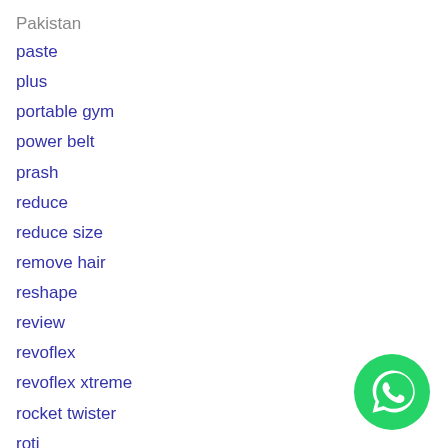Pakistan
paste
plus
portable gym
power belt
prash
reduce
reduce size
remove hair
reshape
review
revoflex
revoflex xtreme
rocket twister
roti
[Figure (logo): WhatsApp green circular logo with white phone handset icon]